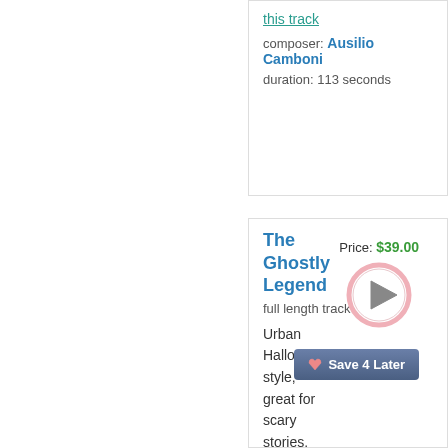this track
composer: Ausilio Camboni
duration: 113 seconds
The Ghostly Legend
Price: $39.00
full length track
Urban Halloween style, great for scary stories. Great music for ghost/horror films, shadows and pumpkins of darkness.
composer: Ausilio